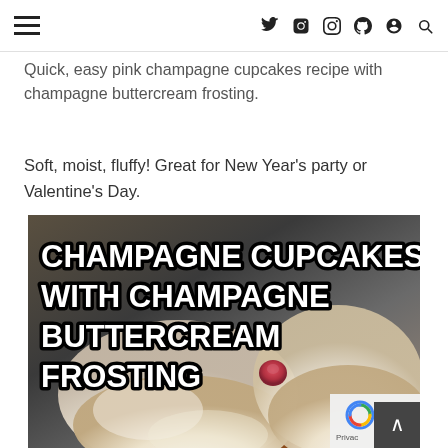[hamburger menu] [twitter] [instagram] [pinterest] [snapchat] [search]
Quick, easy pink champagne cupcakes recipe with champagne buttercream frosting.
Soft, moist, fluffy! Great for New Year's party or Valentine's Day.
[Figure (photo): Photo of champagne cupcakes with white buttercream frosting on a dark background, with bold white text overlay reading 'CHAMPAGNE CUPCAKES WITH CHAMPAGNE BUTTERCREAM FROSTING']